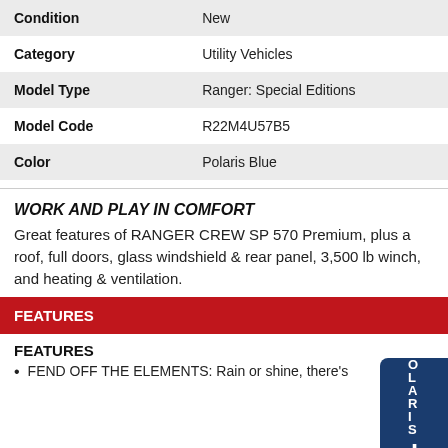| Field | Value |
| --- | --- |
| Condition | New |
| Category | Utility Vehicles |
| Model Type | Ranger: Special Editions |
| Model Code | R22M4U57B5 |
| Color | Polaris Blue |
WORK AND PLAY IN COMFORT
Great features of RANGER CREW SP 570 Premium, plus a roof, full doors, glass windshield & rear panel, 3,500 lb winch, and heating & ventilation.
FEATURES
FEATURES
FEND OFF THE ELEMENTS: Rain or shine, there's